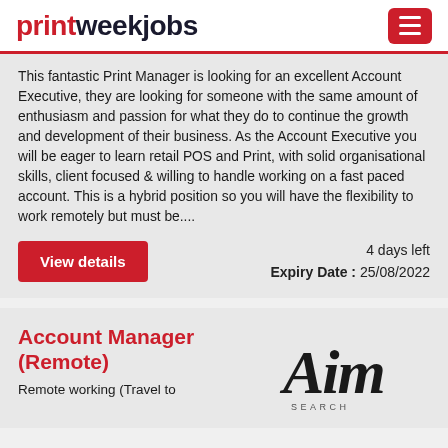printweekjobs
This fantastic Print Manager is looking for an excellent Account Executive, they are looking for someone with the same amount of enthusiasm and passion for what they do to continue the growth and development of their business. As the Account Executive you will be eager to learn retail POS and Print, with solid organisational skills, client focused & willing to handle working on a fast paced account. This is a hybrid position so you will have the flexibility to work remotely but must be....
4 days left
Expiry Date : 25/08/2022
Account Manager (Remote)
Remote working (Travel to
[Figure (logo): Aim group logo in stylized script font]